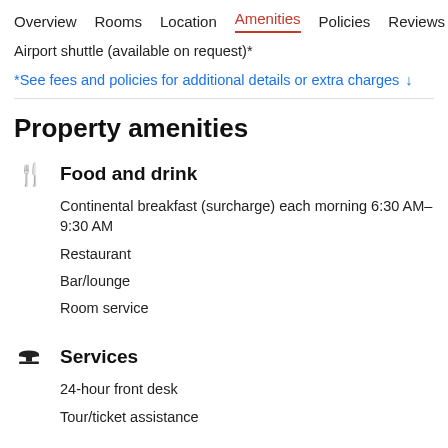Overview  Rooms  Location  Amenities  Policies  Reviews
Airport shuttle (available on request)*
*See fees and policies for additional details or extra charges ↓
Property amenities
Food and drink
Continental breakfast (surcharge) each morning 6:30 AM–9:30 AM
Restaurant
Bar/lounge
Room service
Services
24-hour front desk
Tour/ticket assistance